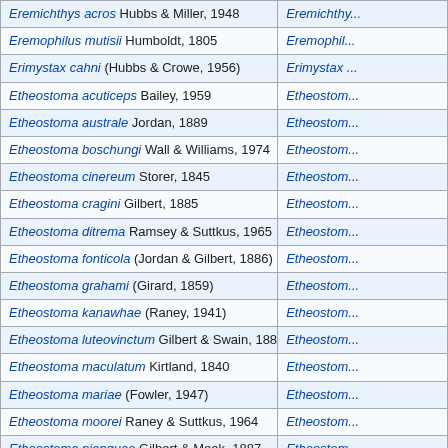| Species |  |
| --- | --- |
| Eremichthys acros Hubbs & Miller, 1948 | Eremichthy... |
| Eremophilus mutisii Humboldt, 1805 | Eremophil... |
| Erimystax cahni (Hubbs & Crowe, 1956) | Erimystax ... |
| Etheostoma acuticeps Bailey, 1959 | Etheostom... |
| Etheostoma australe Jordan, 1889 | Etheostom... |
| Etheostoma boschungi Wall & Williams, 1974 | Etheostom... |
| Etheostoma cinereum Storer, 1845 | Etheostom... |
| Etheostoma cragini Gilbert, 1885 | Etheostom... |
| Etheostoma ditrema Ramsey & Suttkus, 1965 | Etheostom... |
| Etheostoma fonticola (Jordan & Gilbert, 1886) | Etheostom... |
| Etheostoma grahami (Girard, 1859) | Etheostom... |
| Etheostoma kanawhae (Raney, 1941) | Etheostom... |
| Etheostoma luteovinctum Gilbert & Swain, 1887 | Etheostom... |
| Etheostoma maculatum Kirtland, 1840 | Etheostom... |
| Etheostoma mariae (Fowler, 1947) | Etheostom... |
| Etheostoma moorei Raney & Suttkus, 1964 | Etheostom... |
| Etheostoma nianguae Gilbert & Meek, 1887 | Etheostom... |
| Etheostoma nuchale Howell & Caldwell, 1965 | Etheostom... |
| Etheostoma okaloosae (Fowler, 1941) | Etheostom... |
| Etheostoma osburni (Hubbs & Trautman, 1932) | Etheostom... |
| Etheostoma pallididorsum Distler & Metcalf, 1962 | Etheostom... |
| Etheostoma pottsii (Girard, 1859) | Etheostom... |